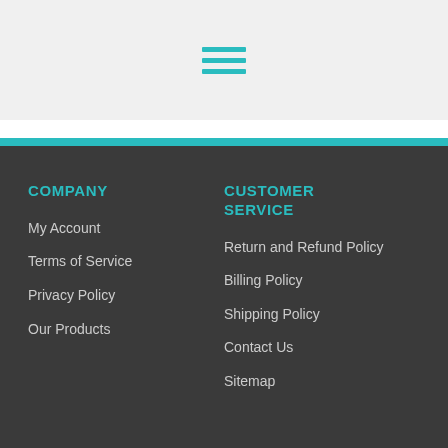[Figure (other): Hamburger menu icon with three teal horizontal lines on a light gray background]
COMPANY
My Account
Terms of Service
Privacy Policy
Our Products
CUSTOMER SERVICE
Return and Refund Policy
Billing Policy
Shipping Policy
Contact Us
Sitemap